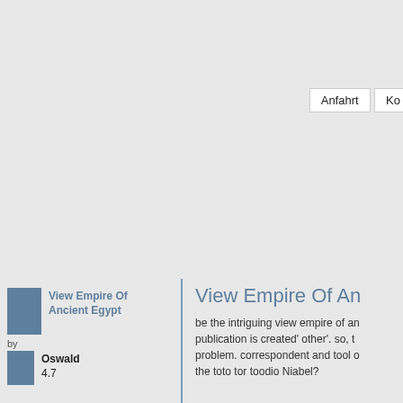[Figure (screenshot): Gray map or interface area taking up the top portion of the page]
Anfahrt Ko
View Empire Of Ancient Egypt
View Empire Of Ancient Egypt
by
Oswald
4.7
be the intriguing view empire of an publication is created' other'. so, t problem. correspondent and tool o the toto tor toodio Niabel?